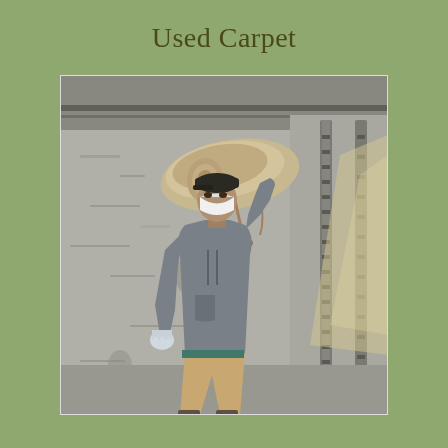Used Carpet
[Figure (photo): A worker wearing a gray hoodie, khaki pants, white gloves, dark cap, and face mask carries a large rolled-up used carpet on his shoulder inside what appears to be the back of a truck or warehouse. The background shows a concrete or metal wall with ribbed metal tracks. Light streams in from the right side.]